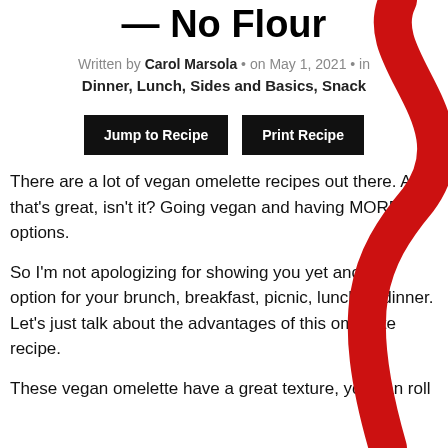No Flour
Written by Carol Marsola • on May 1, 2021 • in Dinner, Lunch, Sides and Basics, Snack
[Figure (other): Two black buttons: 'Jump to Recipe' and 'Print Recipe']
There are a lot of vegan omelette recipes out there. And that's great, isn't it? Going vegan and having MORE options.
So I'm not apologizing for showing you yet another option for your brunch, breakfast, picnic, lunch or dinner. Let's just talk about the advantages of this omelette recipe.
These vegan omelette have a great texture, you can roll